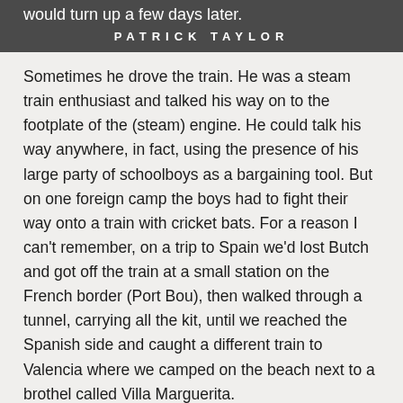would turn up a few days later.
PATRICK TAYLOR
Sometimes he drove the train. He was a steam train enthusiast and talked his way on to the footplate of the (steam) engine. He could talk his way anywhere, in fact, using the presence of his large party of schoolboys as a bargaining tool. But on one foreign camp the boys had to fight their way onto a train with cricket bats. For a reason I can't remember, on a trip to Spain we'd lost Butch and got off the train at a small station on the French border (Port Bou), then walked through a tunnel, carrying all the kit, until we reached the Spanish side and caught a different train to Valencia where we camped on the beach next to a brothel called Villa Marguerita.
In Granada we camped in a ploughed field but visited the Alhambra Palace. Some boys with extra money